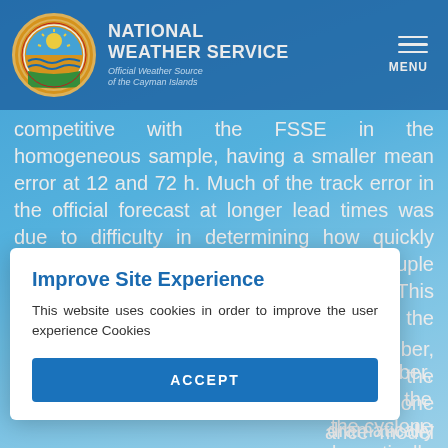[Figure (logo): National Weather Service logo - circular emblem with sun and waves, Cayman Islands]
NATIONAL WEATHER SERVICE
Official Weather Source of the Cayman Islands
competitive with the FSSE in the homogeneous sample, having a smaller mean error at 12 and 72 h. Much of the track error in the official forecast at longer lead times was due to difficulty in determining how quickly Paloma's low-level circulation would decouple from the fast mid- to upper-level flow. This uncertainty was also seen in much of the available track model guidance. From [8 November, [too far to the [the cyclone [dramatically
Improve Site Experience
This website uses cookies in order to improve the user experience Cookies
ACCEPT
ance model